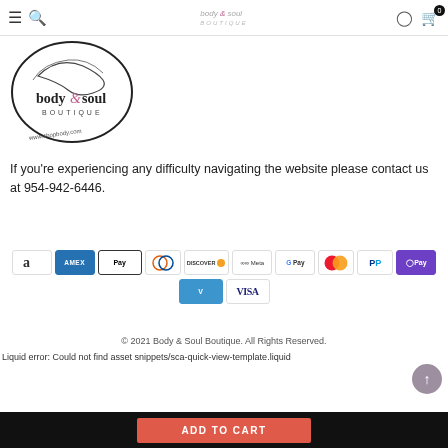body & soul boutique — navigation bar with menu, search, account, cart
[Figure (logo): Body & Soul Boutique oval logo with cursive figure and text 'body & soul BOUTIQUE' and 'www.shopbody.com']
If you're experiencing any difficulty navigating the website please contact us at 954-942-6446.
[Figure (infographic): Payment method icons: Amazon Pay, American Express, Apple Pay, Diners Club, Discover, Meta Pay, Google Pay, Mastercard, PayPal, OPay, Venmo, Visa]
© 2021 Body & Soul Boutique. All Rights Reserved.
Liquid error: Could not find asset snippets/sca-quick-view-template.liquid